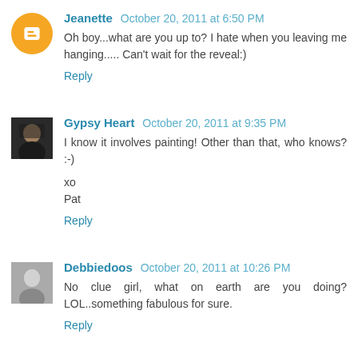Jeanette  October 20, 2011 at 6:50 PM
Oh boy...what are you up to? I hate when you leaving me hanging..... Can't wait for the reveal:)
Reply
Gypsy Heart  October 20, 2011 at 9:35 PM
I know it involves painting! Other than that, who knows? :-)
xo
Pat
Reply
Debbiedoos  October 20, 2011 at 10:26 PM
No clue girl, what on earth are you doing? LOL..something fabulous for sure.
Reply